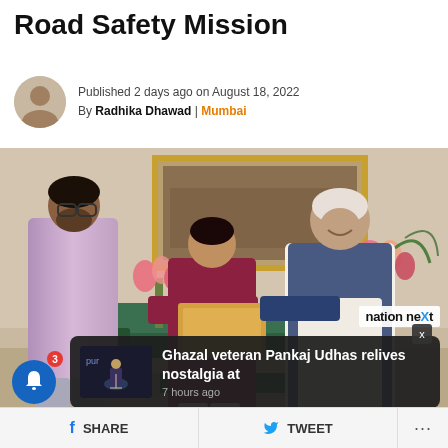Road Safety Mission
Published 2 days ago on August 18, 2022
By Radhika Dhawad | Mumbai
[Figure (photo): Photo of three people in an indoor setting: a young man in a purple hoodie on the left, a person in maroon kurta in the center handing documents, and an elderly man in a blue waistcoat on the right. A green sofa, floral arrangements, and a group photo on the wall are visible in the background. Nation Next watermark in top right corner.]
Ghazal veteran Pankaj Udhas relives nostalgia at
7 hours ago